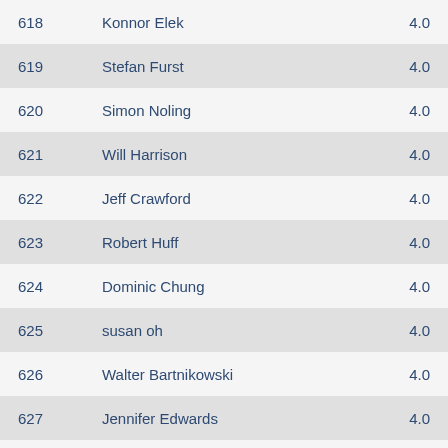| Rank | Name | Score |
| --- | --- | --- |
| 618 | Konnor Elek | 4.0 |
| 619 | Stefan Furst | 4.0 |
| 620 | Simon Noling | 4.0 |
| 621 | Will Harrison | 4.0 |
| 622 | Jeff Crawford | 4.0 |
| 623 | Robert Huff | 4.0 |
| 624 | Dominic Chung | 4.0 |
| 625 | susan oh | 4.0 |
| 626 | Walter Bartnikowski | 4.0 |
| 627 | Jennifer Edwards | 4.0 |
| 628 | Jeffrey Whitaker | 4.0 |